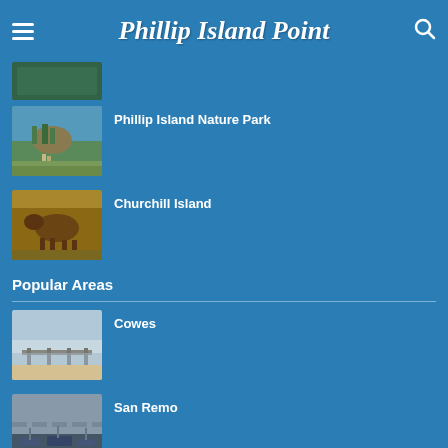Phillip Island Point
[Figure (photo): Partially visible thumbnail image at top of page (cut off)]
Phillip Island Nature Park
Churchill Island
Popular Areas
Cowes
San Remo
Cape Woolamai